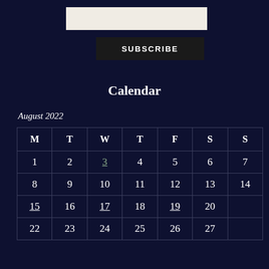[Figure (other): Subscribe input field (light beige/cream color)]
SUBSCRIBE
Calendar
August 2022
| M | T | W | T | F | S | S |
| --- | --- | --- | --- | --- | --- | --- |
| 1 | 2 | 3 | 4 | 5 | 6 | 7 |
| 8 | 9 | 10 | 11 | 12 | 13 | 14 |
| 15 | 16 | 17 | 18 | 19 | 20 | 21 |
| 22 | 23 | 24 | 25 | 26 | 27 | 28 |